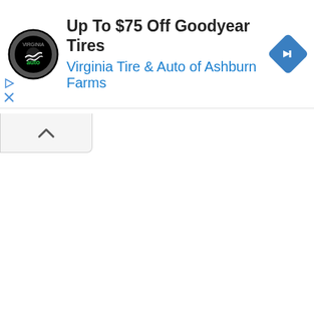[Figure (logo): Virginia Tire & Auto circular logo with black circle, tire graphic, and green 'auto' text]
Up To $75 Off Goodyear Tires
Virginia Tire & Auto of Ashburn Farms
[Figure (logo): Blue diamond-shaped navigation/directions icon with white right-turn arrow]
[Figure (other): Ad controls: play/forward triangle icon and X close icon]
[Figure (other): Collapse button with upward chevron arrow]